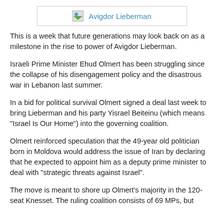[Figure (other): Broken image placeholder with label 'Avigdor Lieberman']
This is a week that future generations may look back on as a milestone in the rise to power of Avigdor Lieberman.
Israeli Prime Minister Ehud Olmert has been struggling since the collapse of his disengagement policy and the disastrous war in Lebanon last summer.
In a bid for political survival Olmert signed a deal last week to bring Lieberman and his party Yisrael Beiteinu (which means "Israel Is Our Home") into the governing coalition.
Olmert reinforced speculation that the 49-year old politician born in Moldova would address the issue of Iran by declaring that he expected to appoint him as a deputy prime minister to deal with "strategic threats against Israel".
The move is meant to shore up Olmert's majority in the 120-seat Knesset. The ruling coalition consists of 69 MPs, but